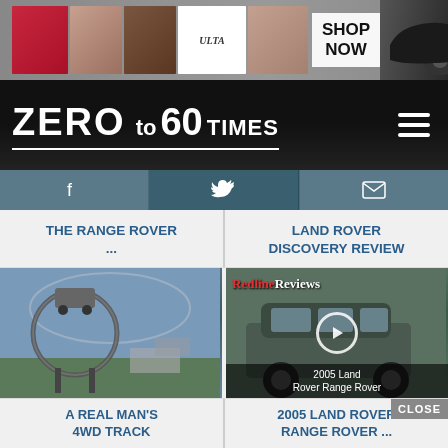[Figure (screenshot): Ulta Beauty makeup advertisement banner with cosmetic images and SHOP NOW button]
[Figure (logo): Zero to 60 Times website logo with hamburger menu icon on dark background]
[Figure (screenshot): Navigation bar with Facebook, Twitter, and email icons]
THE RANGE ROVER ...
LAND ROVER DISCOVERY REVIEW
[Figure (photo): 4WD vehicle on a large mechanical ring/loop structure at an outdoor event]
[Figure (screenshot): Redline Reviews thumbnail showing 2005 Land Rover Range Rover with play button overlay]
A REAL MAN'S 4WD TRACK ...
2005 LAND ROVER RANGE ROVER ...
[Figure (screenshot): Seamless food delivery advertisement with pizza image, Seamless logo, ORDER NOW button and CLOSE button]